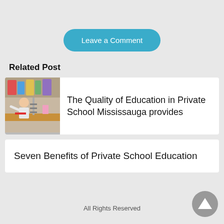Leave a Comment
Related Post
[Figure (photo): Child in classroom building a structure at a desk with school supplies around]
The Quality of Education in Private School Mississauga provides
Seven Benefits of Private School Education
All Rights Reserved